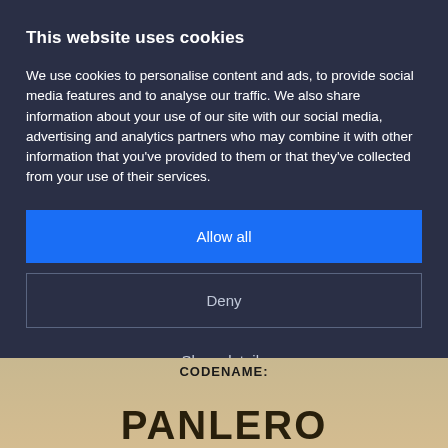This website uses cookies
We use cookies to personalise content and ads, to provide social media features and to analyse our traffic. We also share information about your use of our site with our social media, advertising and analytics partners who may combine it with other information that you've provided to them or that they've collected from your use of their services.
Allow all
Deny
Show details
[Figure (photo): Partial view of a game title card with aged/sepia background showing text 'CODENAME:' and large stylized letters below (partially visible)]